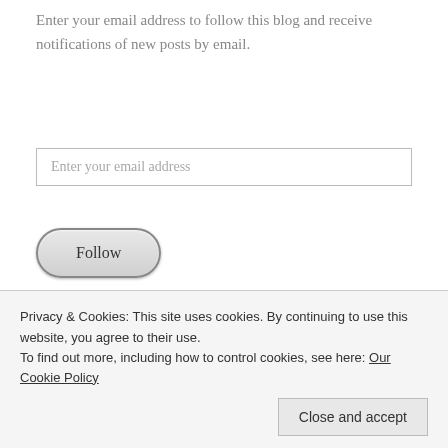Enter your email address to follow this blog and receive notifications of new posts by email.
[Figure (screenshot): Email input field with placeholder text 'Enter your email address']
[Figure (screenshot): Follow button with rounded pill shape]
Privacy & Cookies: This site uses cookies. By continuing to use this website, you agree to their use.
To find out more, including how to control cookies, see here: Our Cookie Policy
[Figure (screenshot): Close and accept button]
To share or use my work